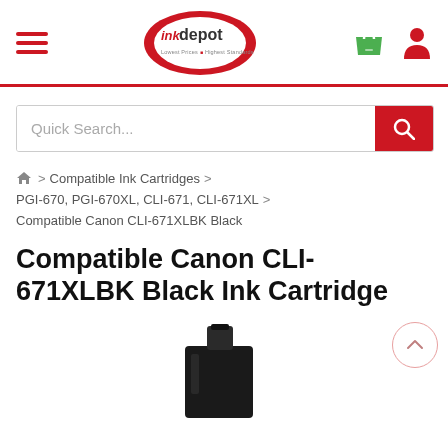[Figure (logo): Ink Depot logo - circular logo with red and white text 'inkdepot' and tagline 'Lowest Prices Highest Standards']
[Figure (illustration): Hamburger menu icon (three horizontal red lines), green shopping bag icon, red person/user icon in the header navigation]
Quick Search...
🏠 > Compatible Ink Cartridges >
PGI-670, PGI-670XL, CLI-671, CLI-671XL >
Compatible Canon CLI-671XLBK Black
Compatible Canon CLI-671XLBK Black Ink Cartridge
[Figure (photo): Black ink cartridge (Canon CLI-671XLBK) partially visible at bottom of page]